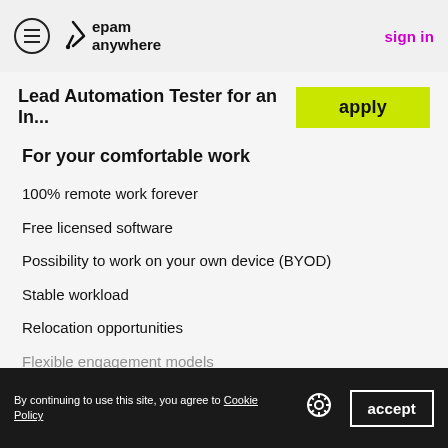epam anywhere | sign in
Lead Automation Tester for an In...
For your comfortable work
100% remote work forever
Free licensed software
Possibility to work on your own device (BYOD)
Stable workload
Relocation opportunities
Flexible engagement models
By continuing to use this site, you agree to Cookie Policy | accept